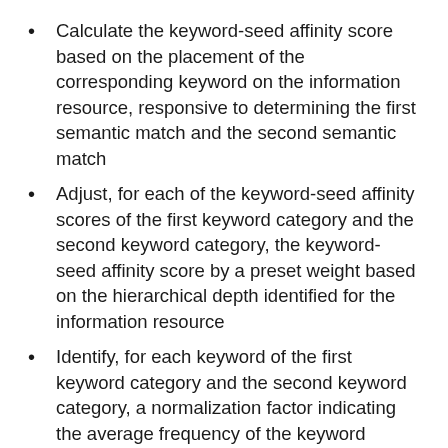Calculate the keyword-seed affinity score based on the placement of the corresponding keyword on the information resource, responsive to determining the first semantic match and the second semantic match
Adjust, for each of the keyword-seed affinity scores of the first keyword category and the second keyword category, the keyword-seed affinity score by a preset weight based on the hierarchical depth identified for the information resource
Identify, for each keyword of the first keyword category and the second keyword category, a normalization factor indicating the average frequency of the keyword across